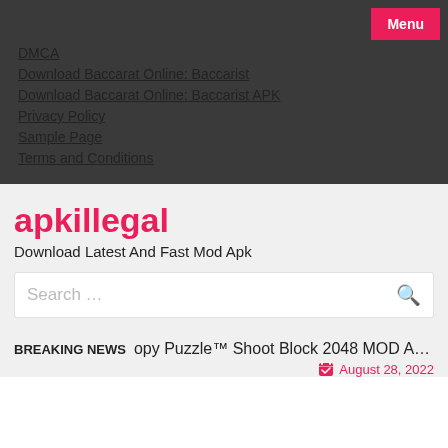Menu
DMCA
Download Baccarat Online: Baccarist
Download Baccarat Online: Baccarist APK
Privacy Policy
Sample Page
Terms and Conditions
apkillegal
Download Latest And Fast Mod Apk
Search …
BREAKING NEWS   opy Puzzle™ Shoot Block 2048 MOD APK   August 28, 2022